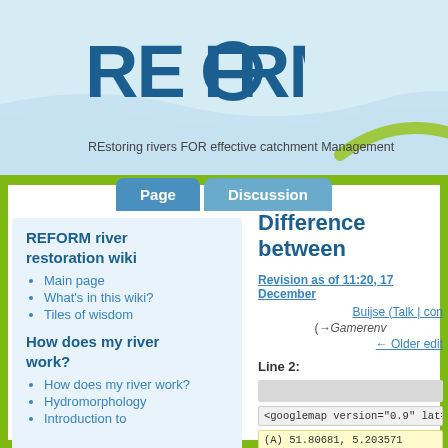[Figure (logo): REFORM logo with wave graphics and blue text on light blue background]
REstoring rivers FOR effective catchment Management
[Figure (screenshot): Wiki navigation tabs: Page (active) and Discussion]
REFORM river restoration wiki
Main page
What's in this wiki?
Tiles of wisdom
How does my river work?
How does my river work?
Hydromorphology
Introduction to
Difference between
Revision as of 11:20, 17 December
Buijse (Talk | con
(→Gamerenv
← Older edit
Line 2:
<googlemap version="0.9" lat="51.80816
(A) 51.80681, 5.203571